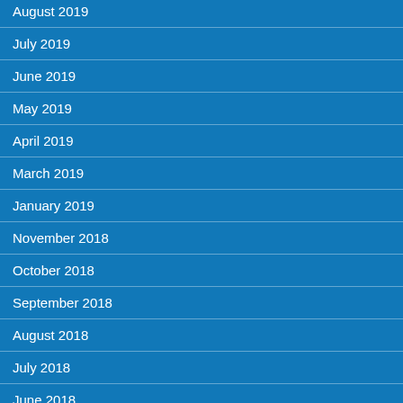August 2019
July 2019
June 2019
May 2019
April 2019
March 2019
January 2019
November 2018
October 2018
September 2018
August 2018
July 2018
June 2018